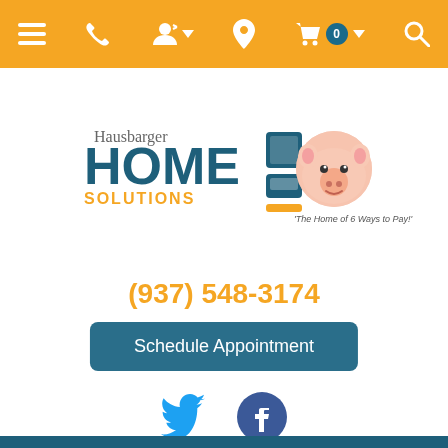Navigation bar with menu, phone, user, location, cart (0), and search icons
[Figure (logo): Hausbarger Home Solutions logo with cartoon pig and tagline 'The Home of 6 Ways to Pay!']
(937) 548-3174
Schedule Appointment
[Figure (illustration): Twitter bird icon (blue) and Facebook icon (dark blue circle with f)]
Shop by Category
[Figure (photo): LG front-load washing machine in silver/grey color, partially visible at bottom of page]
[Figure (illustration): Heart/wishlist button circle icon in top right]